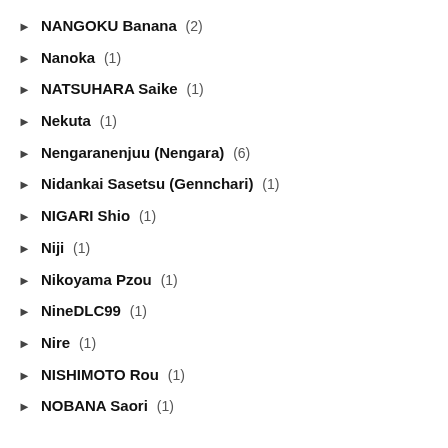NANGOKU Banana (2)
Nanoka (1)
NATSUHARA Saike (1)
Nekuta (1)
Nengaranenjuu (Nengara) (6)
Nidankai Sasetsu (Gennchari) (1)
NIGARI Shio (1)
Niji (1)
Nikoyama Pzou (1)
NineDLC99 (1)
Nire (1)
NISHIMOTO Rou (1)
NOBANA Saori (1)